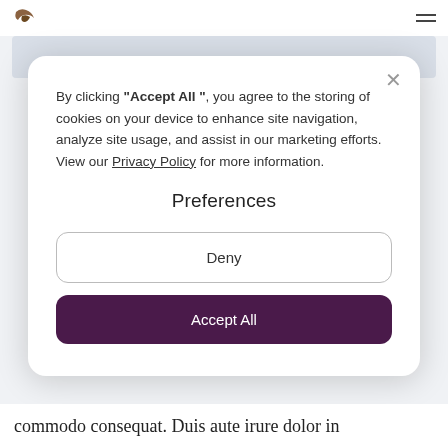[Logo icon] [Hamburger menu]
[Figure (screenshot): Cookie consent modal dialog on a website. Contains cookie policy text, a 'Preferences' heading, a 'Deny' button with border, and an 'Accept All' button with dark purple background.]
By clicking "Accept All", you agree to the storing of cookies on your device to enhance site navigation, analyze site usage, and assist in our marketing efforts. View our Privacy Policy for more information.
Preferences
Deny
Accept All
commodo consequat. Duis aute irure dolor in